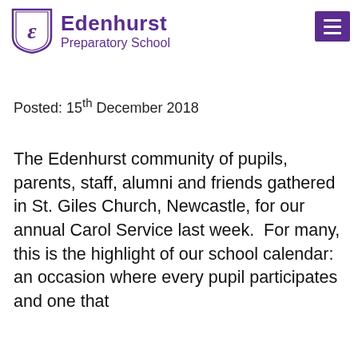[Figure (logo): Edenhurst Preparatory School logo with shield emblem containing stylized E letter, and school name in purple text]
Posted: 15th December 2018
The Edenhurst community of pupils, parents, staff, alumni and friends gathered in St. Giles Church, Newcastle, for our annual Carol Service last week.  For many, this is the highlight of our school calendar: an occasion where every pupil participates and one that...